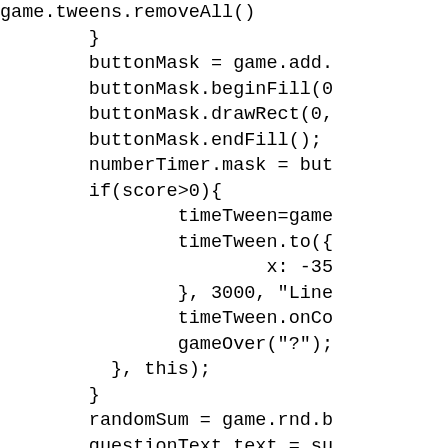game.tweens.removeAll()
        }
        buttonMask = game.add.
        buttonMask.beginFill(0
        buttonMask.drawRect(0,
        buttonMask.endFill();
        numberTimer.mask = but
        if(score>0){
                timeTween=game
                timeTween.to({
                        x: -35
                }, 3000, "Line
                timeTween.onCo
                gameOver("?");
          }, this);
        }
        randomSum = game.rnd.b
        questionText.text = su
    }
}